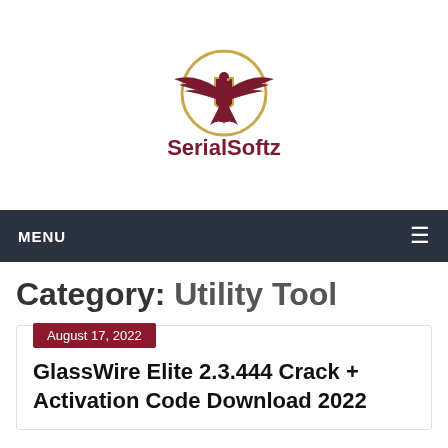[Figure (logo): SerialSoftz logo with eagle/shield emblem above the text 'SerialSoftz' in dark red]
MENU ≡
Category: Utility Tool
August 17, 2022
GlassWire Elite 2.3.444 Crack + Activation Code Download 2022